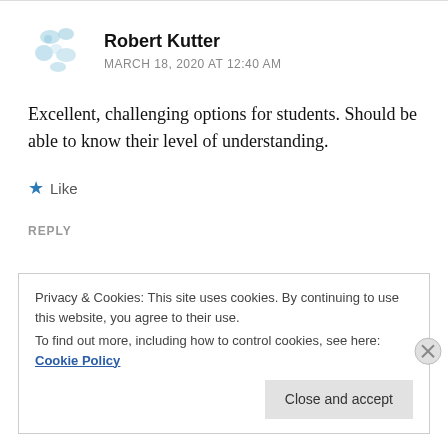[Figure (illustration): Avatar icon placeholder with light blue abstract design]
Robert Kutter
MARCH 18, 2020 AT 12:40 AM
Excellent, challenging options for students. Should be able to know their level of understanding.
★ Like
REPLY
Privacy & Cookies: This site uses cookies. By continuing to use this website, you agree to their use.
To find out more, including how to control cookies, see here: Cookie Policy
Close and accept